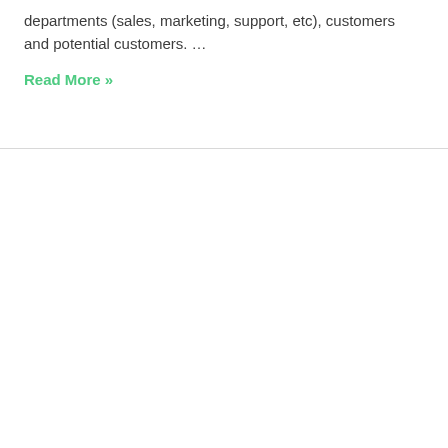departments (sales, marketing, support, etc), customers and potential customers. …
Read More »